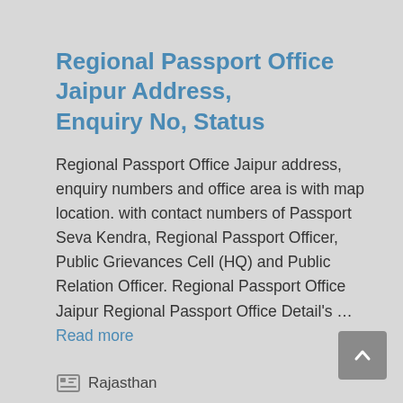Regional Passport Office Jaipur Address, Enquiry No, Status
Regional Passport Office Jaipur address, enquiry numbers and office area is with map location. with contact numbers of Passport Seva Kendra, Regional Passport Officer, Public Grievances Cell (HQ) and Public Relation Officer. Regional Passport Office Jaipur Regional Passport Office Detail's … Read more
Rajasthan
Jaipur
Leave a comment